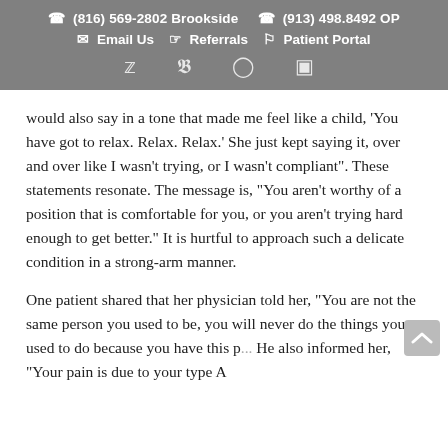(816) 569-2802 Brookside   (913) 498.8492 OP   Email Us   Referrals   Patient Portal
would also say in a tone that made me feel like a child, 'You have got to relax. Relax. Relax.' She just kept saying it, over and over like I wasn't trying, or I wasn't compliant". These statements resonate. The message is, "You aren't worthy of a position that is comfortable for you, or you aren't trying hard enough to get better." It is hurtful to approach such a delicate condition in a strong-arm manner.
One patient shared that her physician told her, "You are not the same person you used to be, you will never do the things you used to do because you have this p... He also informed her, "Your pain is due to your type A...